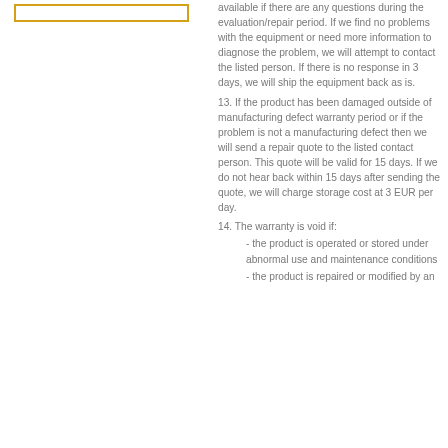[Figure (other): Gold/yellow bordered rectangle box in upper left column]
available if there are any questions during the evaluation/repair period. If we find no problems with the equipment or need more information to diagnose the problem, we will attempt to contact the listed person. If there is no response in 3 days, we will ship the equipment back as is.
13. If the product has been damaged outside of manufacturing defect warranty period or if the problem is not a manufacturing defect then we will send a repair quote to the listed contact person. This quote will be valid for 15 days. If we do not hear back within 15 days after sending the quote, we will charge storage cost at 3 EUR per day.
14. The warranty is void if:
- the product is operated or stored under abnormal use and maintenance conditions
- the product is repaired or modified by an